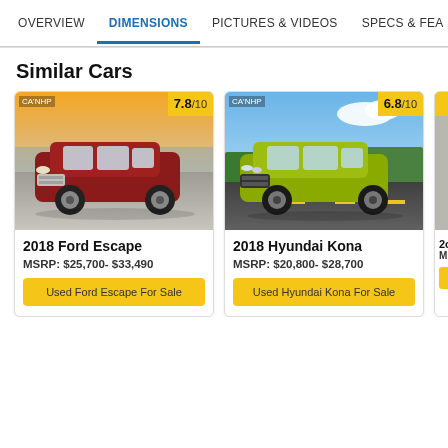OVERVIEW | DIMENSIONS | PICTURES & VIDEOS | SPECS & FEA
Similar Cars
[Figure (photo): 2018 Ford Escape red SUV driving near water, rating badge 7.8/10]
2018 Ford Escape
MSRP: $25,700- $33,490
Used Ford Escape For Sale
[Figure (photo): 2018 Hyundai Kona lime green SUV driving on road, rating badge 6.8/10]
2018 Hyundai Kona
MSRP: $20,800- $28,700
Used Hyundai Kona For Sale
[Figure (photo): Partially visible third car card]
2o
M